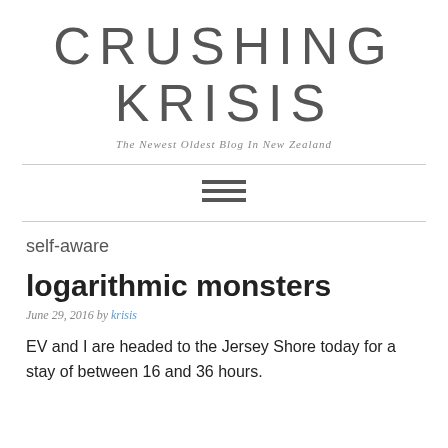CRUSHING KRISIS
The Newest Oldest Blog In New Zealand
self-aware
logarithmic monsters
June 29, 2016 by krisis
EV and I are headed to the Jersey Shore today for a stay of between 16 and 36 hours.